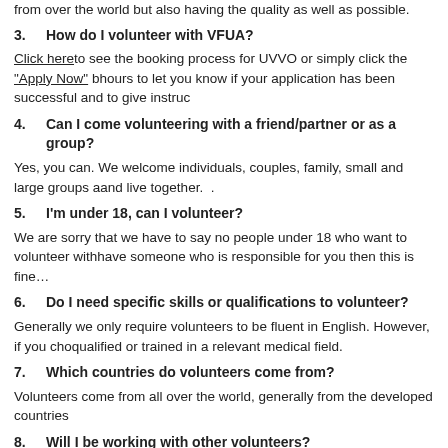from over the world but also having the quality as well as possible.
3.    How do I volunteer with VFUA?
Click here to see the booking process for UVVO or simply click the "Apply Now" b... hours to let you know if your application has been successful and to give instruc...
4.    Can I come volunteering with a friend/partner or as a group?
Yes, you can. We welcome individuals, couples, family, small and large groups a... and live together.  .
5.    I'm under 18, can I volunteer?
We are sorry that we have to say no people under 18 who want to volunteer with... have someone who is responsible for you then this is fine…
6.    Do I need specific skills or qualifications to volunteer?
Generally we only require volunteers to be fluent in English. However, if you cho... qualified or trained in a relevant medical field.
7.    Which countries do volunteers come from?
Volunteers come from all over the world, generally from the developed countries...
8.    Will I be working with other volunteers?
Generally, yes, but this depends on each program, location and time of year.
9.    Are there more expenses when I arrive? Is travel insurance included i...